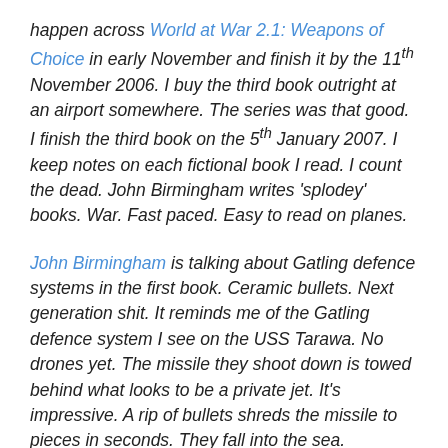happen across World at War 2.1: Weapons of Choice in early November and finish it by the 11th November 2006. I buy the third book outright at an airport somewhere. The series was that good. I finish the third book on the 5th January 2007. I keep notes on each fictional book I read. I count the dead. John Birmingham writes 'splodey' books. War. Fast paced. Easy to read on planes.
John Birmingham is talking about Gatling defence systems in the first book. Ceramic bullets. Next generation shit. It reminds me of the Gatling defence system I see on the USS Tarawa. No drones yet. The missile they shoot down is towed behind what looks to be a private jet. It's impressive. A rip of bullets shreds the missile to pieces in seconds. They fall into the sea. Everyone on the Australian side is impressed. We don't have that level of